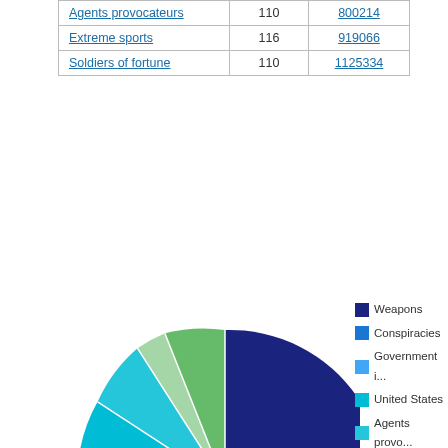|  |  |  |
| --- | --- | --- |
| Agents provocateurs | 110 | 800214 |
| Extreme sports | 116 | 919066 |
| Soldiers of fortune | 110 | 1125334 |
[Figure (pie-chart): Category distribution pie chart]
VIAF Authority Links
| Name | VIAF ID |
| --- | --- |
| Caruso, D. J. | 100319494 |